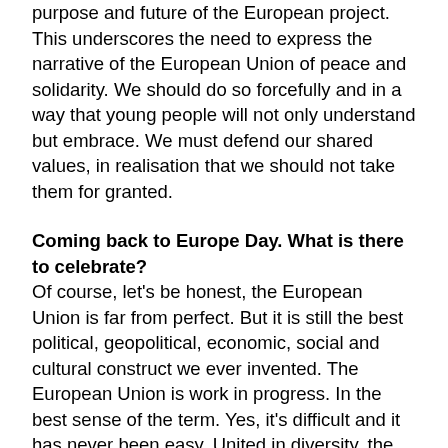purpose and future of the European project. This underscores the need to express the narrative of the European Union of peace and solidarity. We should do so forcefully and in a way that young people will not only understand but embrace. We must defend our shared values, in realisation that we should not take them for granted.
Coming back to Europe Day. What is there to celebrate?
Of course, let's be honest, the European Union is far from perfect. But it is still the best political, geopolitical, economic, social and cultural construct we ever invented. The European Union is work in progress. In the best sense of the term. Yes, it's difficult and it has never been easy. United in diversity, the European Union will show its strength.
We have achieved a lot. A dynamic and prosperous region, based on shared values.
So, let's make time at least once a year to celebrate the European Union and the creative idea which brought us together. And let's not give into the warmongering and into